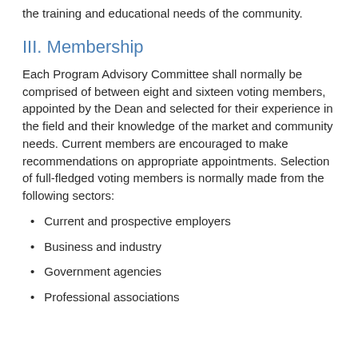the training and educational needs of the community.
III. Membership
Each Program Advisory Committee shall normally be comprised of between eight and sixteen voting members, appointed by the Dean and selected for their experience in the field and their knowledge of the market and community needs. Current members are encouraged to make recommendations on appropriate appointments. Selection of full-fledged voting members is normally made from the following sectors:
Current and prospective employers
Business and industry
Government agencies
Professional associations